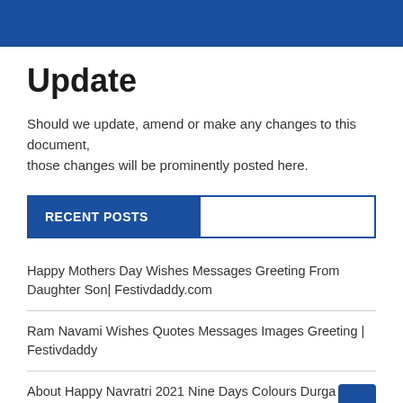Update
Should we update, amend or make any changes to this document, those changes will be prominently posted here.
RECENT POSTS
Happy Mothers Day Wishes Messages Greeting From Daughter Son| Festivdaddy.com
Ram Navami Wishes Quotes Messages Images Greeting | Festivdaddy
About Happy Navratri 2021 Nine Days Colours Durga Puja Celebration,Wishes,Messages,Images| Festivdaddy.com